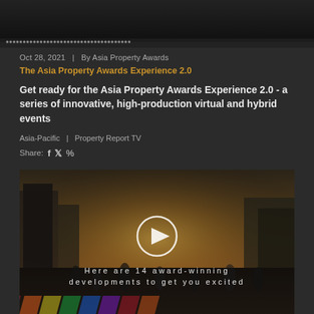[Figure (photo): Dark image at top of article page, partially cropped]
Oct 28, 2021  |  By Asia Property Awards
The Asia Property Awards Experience 2.0
Get ready for the Asia Property Awards Experience 2.0 - a series of innovative, high-production virtual and hybrid events
Asia-Pacific  |  Property Report TV
Share:
[Figure (screenshot): Video thumbnail showing a busy street scene with a play button overlay and text 'Here are 14 award-winning developments to get you excited']